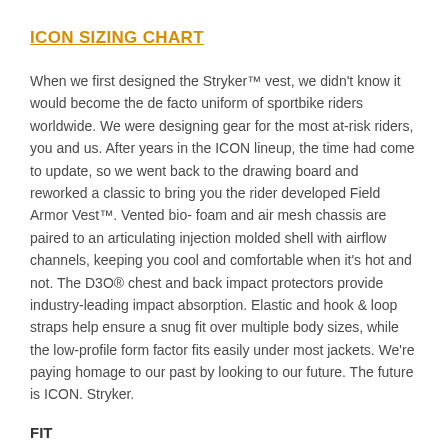ICON SIZING CHART
When we first designed the Stryker™ vest, we didn't know it would become the de facto uniform of sportbike riders worldwide. We were designing gear for the most at-risk riders, you and us. After years in the ICON lineup, the time had come to update, so we went back to the drawing board and reworked a classic to bring you the rider developed Field Armor Vest™. Vented bio-foam and air mesh chassis are paired to an articulating injection molded shell with airflow channels, keeping you cool and comfortable when it's hot and not. The D3O® chest and back impact protectors provide industry-leading impact absorption. Elastic and hook & loop straps help ensure a snug fit over multiple body sizes, while the low-profile form factor fits easily under most jackets. We're paying homage to our past by looking to our future. The future is ICON. Stryker.
FIT